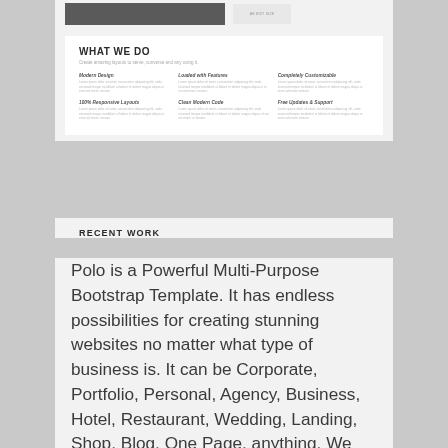[Figure (screenshot): Top portion of a website screenshot showing a dark image banner with a smaller thumbnail to the right]
WHAT WE DO
Create amazing layouts to serve, converse and any using it.
Modern Design
Lorem ipsum dolor sit amet, consectetur adipiscing elit, sed do eiusmod tempor incididunt ut labore et dolore magna aliqua. Vel et eni ad minim veniam.
Loaded with Features
Lorem ipsum dolor sit amet, consectetur adipiscing elit, sed do eiusmod tempor incididunt ut labore et dolore magna aliqua. Vel et eni ad minim veniam.
Completely Customizable
Lorem ipsum dolor sit amet, consectetur adipiscing elit, sed do eiusmod tempor incididunt ut labore et dolore magna aliqua. Vel et eni ad minim veniam.
100% Responsive Layouts
Lorem ipsum dolor sit amet, consectetur adipiscing elit, sed do eiusmod tempor incididunt ut labore et dolore magna aliqua. Vel et eni ad minim veniam.
Clean Modern Code
Lorem ipsum dolor sit amet, consectetur adipiscing elit, sed do eiusmod tempor incididunt ut labore et dolore magna aliqua. Vel et eni ad minim veniam.
Free Updates & Support
Lorem ipsum dolor sit amet, consectetur adipiscing elit, sed do eiusmod tempor incididunt ut labore et dolore magna aliqua. Vel et eni ad minim veniam.
RECENT WORK
Polo is a Powerful Multi-Purpose Bootstrap Template. It has endless possibilities for creating stunning websites no matter what type of business is. It can be Corporate, Portfolio, Personal, Agency, Business, Hotel, Restaurant, Wedding, Landing, Shop, Blog, One Page, anything. We have packed more than 200+ (ready-to-use) layout demos, 600+ HTML files 50+ Short-codes. Works pretty fast and it